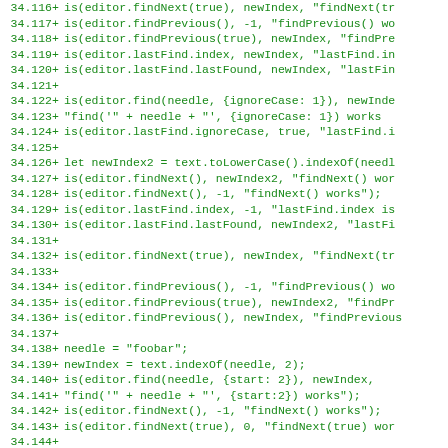Code diff showing JavaScript editor find/findNext/findPrevious test lines 34.116–34.148